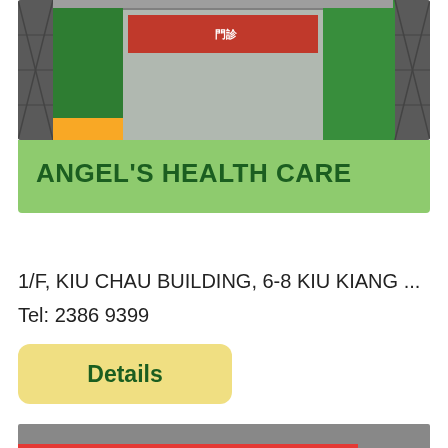[Figure (photo): Storefront photo of Angel's Health Care with green and yellow signage]
ANGEL'S HEALTH CARE
1/F, KIU CHAU BUILDING, 6-8 KIU KIANG ...
Tel: 2386 9399
Details
[Figure (photo): Storefront photo with Chinese characters and phone number 2870 1862 on red banner]